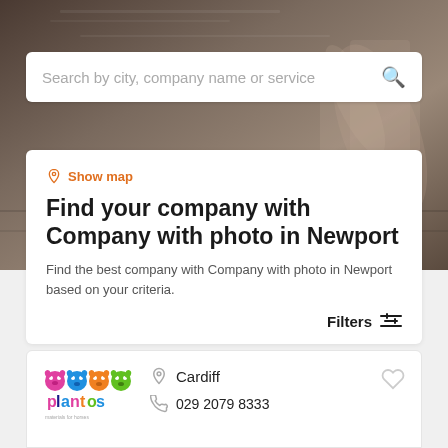[Figure (photo): Hero background image showing blurred hands working, brownish-grey tone]
Search by city, company name or service
Show map
Find your company with Company with photo in Newport
Find the best company with Company with photo in Newport based on your criteria.
Filters
[Figure (logo): Plantos company logo with colorful animal icons]
Cardiff
029 2079 8333